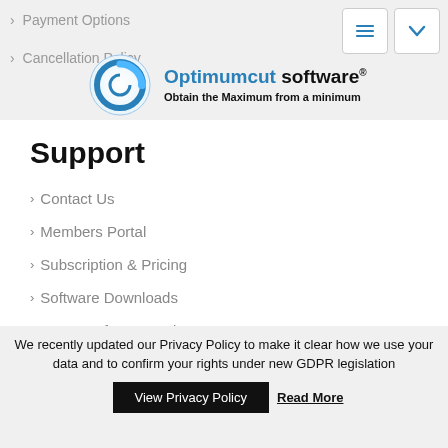> Payment Options
> Cancellation Policy
[Figure (logo): Optimumcut software logo with blue circular icon and tagline: Obtain the Maximum from a minimum]
Support
> Contact Us
> Members Portal
> Subscription & Pricing
> Software Downloads
> Latest Software Updates
> Knowledge Base
We recently updated our Privacy Policy to make it clear how we use your data and to confirm your rights under new GDPR legislation
View Privacy Policy
Read More